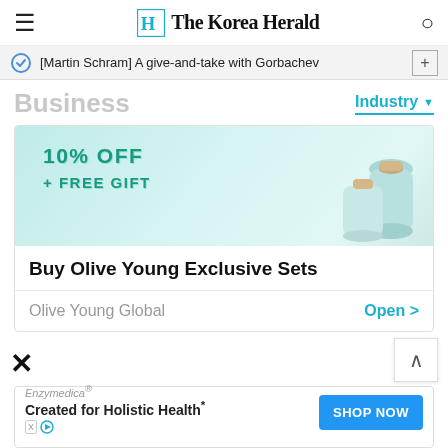The Korea Herald
[Martin Schram] A give-and-take with Gorbachev
Business
Industry ▼
[Figure (photo): Advertisement for Olive Young showing skincare products with '10% OFF + FREE GIFT' promotion text on a teal/mint background with cosmetic bottles]
Buy Olive Young Exclusive Sets
Olive Young Global    Open >
Enzymedica® Created for Holistic Health*    SHOP NOW